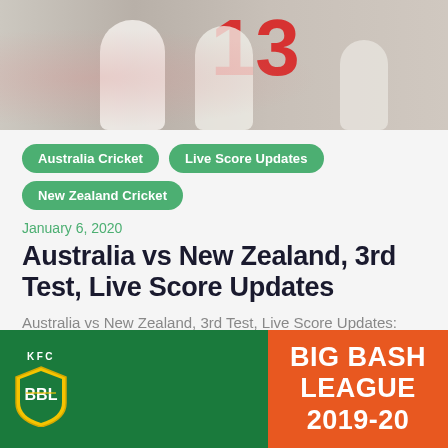[Figure (photo): Cricket players in white uniforms on field, player wearing number 13]
Australia Cricket
Live Score Updates
New Zealand Cricket
January 6, 2020
Australia vs New Zealand, 3rd Test, Live Score Updates
Australia vs New Zealand, 3rd Test, Live Score Updates: Australia vs New Zealand happening right now, and both teams...
[Figure (photo): KFC Big Bash League 2019-20 promotional banner with green and orange background]